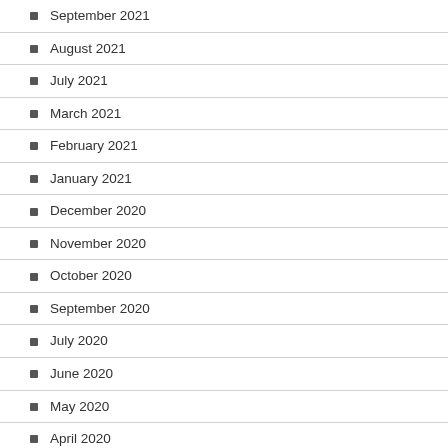September 2021
August 2021
July 2021
March 2021
February 2021
January 2021
December 2020
November 2020
October 2020
September 2020
July 2020
June 2020
May 2020
April 2020
March 2020